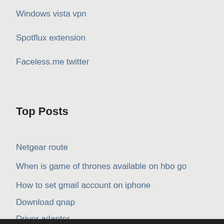Windows vista vpn
Spotflux extension
Faceless.me twitter
Top Posts
Netgear route
When is game of thrones available on hbo go
How to set gmail account on iphone
Download qnap
Driver adapter